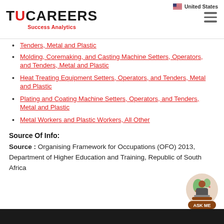TUCAREERS Success Analytics | United States
Tenders, Metal and Plastic (partial, top cut off)
Molding, Coremaking, and Casting Machine Setters, Operators, and Tenders, Metal and Plastic
Heat Treating Equipment Setters, Operators, and Tenders, Metal and Plastic
Plating and Coating Machine Setters, Operators, and Tenders, Metal and Plastic
Metal Workers and Plastic Workers, All Other
Source Of Info:
Source : Organising Framework for Occupations (OFO) 2013, Department of Higher Education and Training, Republic of South Africa